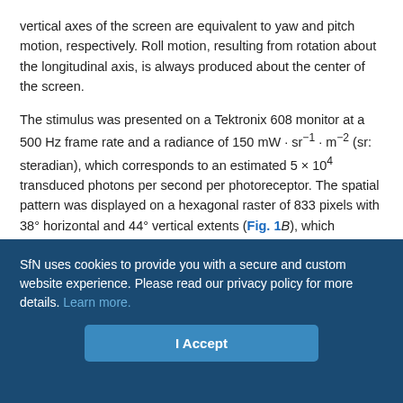vertical axes of the screen are equivalent to yaw and pitch motion, respectively. Roll motion, resulting from rotation about the longitudinal axis, is always produced about the center of the screen.
The stimulus was presented on a Tektronix 608 monitor at a 500 Hz frame rate and a radiance of 150 mW · sr⁻¹ · m⁻² (sr: steradian), which corresponds to an estimated 5 × 10⁴ transduced photons per second per photoreceptor. The spatial pattern was displayed on a hexagonal raster of 833 pixels with 38° horizontal and 44° vertical extents (Fig. 1B), which subtends ~8% of the solid angle accessed by the eye of the fly (Krapp and Hengstenberg, 1997; Lewen et al., 2001). Because the pixels were arranged in a hexagonal array, the intensity of each pixel was calculated as the linear weighted average
SfN uses cookies to provide you with a secure and custom website experience. Please read our privacy policy for more details. Learn more.